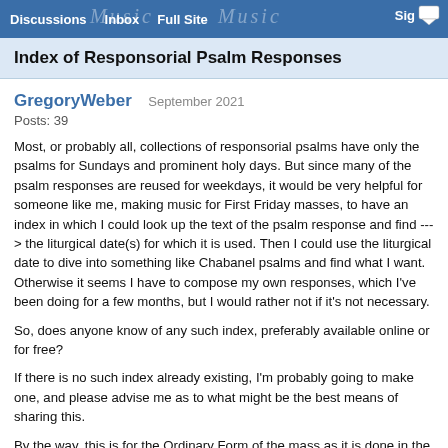Discussions   Inbox   Full Site   Sig
Index of Responsorial Psalm Responses
GregoryWeber   September 2021
Posts: 39
Most, or probably all, collections of responsorial psalms have only the psalms for Sundays and prominent holy days. But since many of the psalm responses are reused for weekdays, it would be very helpful for someone like me, making music for First Friday masses, to have an index in which I could look up the text of the psalm response and find ---> the liturgical date(s) for which it is used. Then I could use the liturgical date to dive into something like Chabanel psalms and find what I want. Otherwise it seems I have to compose my own responses, which I've been doing for a few months, but I would rather not if it's not necessary.
So, does anyone know of any such index, preferably available online or for free?
If there is no such index already existing, I'm probably going to make one, and please advise me as to what might be the best means of sharing this.
By the way, this is for the Ordinary Form of the mass as it is done in the U.S.A., in English. (And as some of you have said a few times, isn't it a